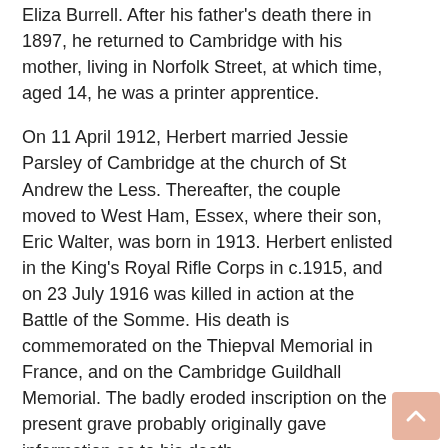Eliza Burrell. After his father's death there in 1897, he returned to Cambridge with his mother, living in Norfolk Street, at which time, aged 14, he was a printer apprentice.
On 11 April 1912, Herbert married Jessie Parsley of Cambridge at the church of St Andrew the Less. Thereafter, the couple moved to West Ham, Essex, where their son, Eric Walter, was born in 1913. Herbert enlisted in the King's Royal Rifle Corps in c.1915, and on 23 July 1916 was killed in action at the Battle of the Somme. His death is commemorated on the Thiepval Memorial in France, and on the Cambridge Guildhall Memorial. The badly eroded inscription on the present grave probably originally gave information as to his death.
Percival Burrell (1896–1918) For more information and a photograph, see also his lifestory
Percival born in Forest Gate, Essex on 21 October...